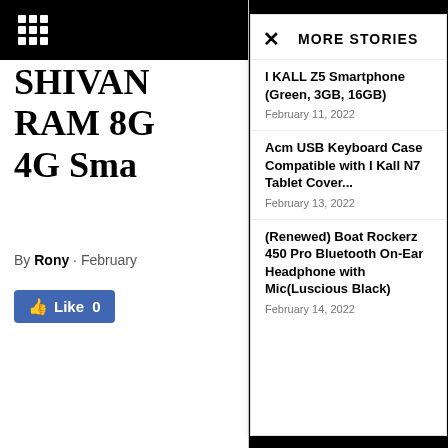SHIVAN RAM 8G 4G Sma...
By Rony · February
[Figure (other): Facebook Like button showing Like 0]
MORE STORIES
I KALL Z5 Smartphone (Green, 3GB, 16GB)
February 11, 2022
Acm USB Keyboard Case Compatible with I Kall N7 Tablet Cover...
February 13, 2022
(Renewed) Boat Rockerz 450 Pro Bluetooth On-Ear Headphone with Mic(Luscious Black)
February 14, 2022